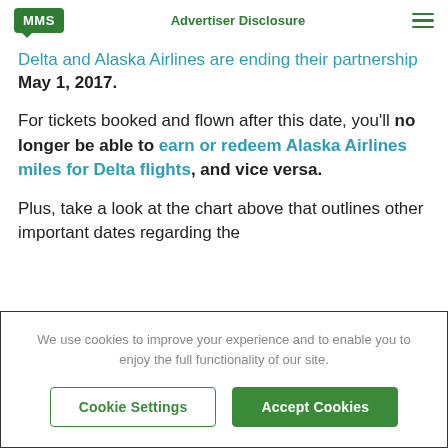MMS | Advertiser Disclosure
Delta and Alaska Airlines are ending their partnership May 1, 2017.
For tickets booked and flown after this date, you'll no longer be able to earn or redeem Alaska Airlines miles for Delta flights, and vice versa.
Plus, take a look at the chart above that outlines other important dates regarding the
We use cookies to improve your experience and to enable you to enjoy the full functionality of our site.
Cookie Settings | Accept Cookies